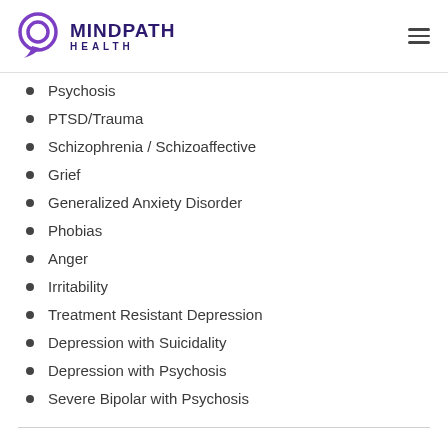[Figure (logo): Mindpath Health logo with purple speech bubble icon and purple bold text reading MINDPATH HEALTH]
Psychosis
PTSD/Trauma
Schizophrenia / Schizoaffective
Grief
Generalized Anxiety Disorder
Phobias
Anger
Irritability
Treatment Resistant Depression
Depression with Suicidality
Depression with Psychosis
Severe Bipolar with Psychosis